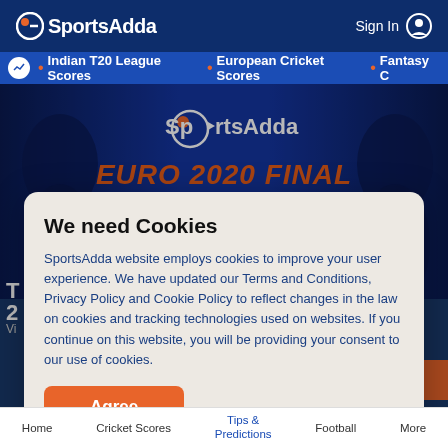SportsAdda | Sign In
Indian T20 League Scores • European Cricket Scores • Fantasy C
[Figure (screenshot): SportsAdda website hero banner showing EURO 2020 FINAL ITALY vs ENGLAND with two soccer players on dark blue background]
We need Cookies
SportsAdda website employs cookies to improve your user experience. We have updated our Terms and Conditions, Privacy Policy and Cookie Policy to reflect changes in the law on cookies and tracking technologies used on websites. If you continue on this website, you will be providing your consent to our use of cookies.
Agree
Home   Cricket Scores   Tips & Predictions   Football   More